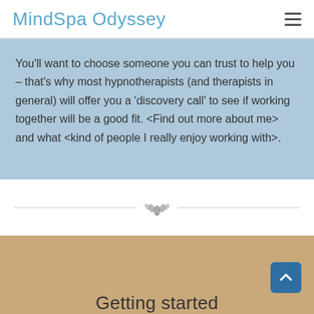MindSpa Odyssey
You'll want to choose someone you can trust to help you – that's why most hypnotherapists (and therapists in general) will offer you a 'discovery call' to see if working together will be a good fit. <Find out more about me> and what <kind of people I really enjoy working with>.
[Figure (illustration): Decorative lotus/spa icon with horizontal divider lines on either side]
Getting started